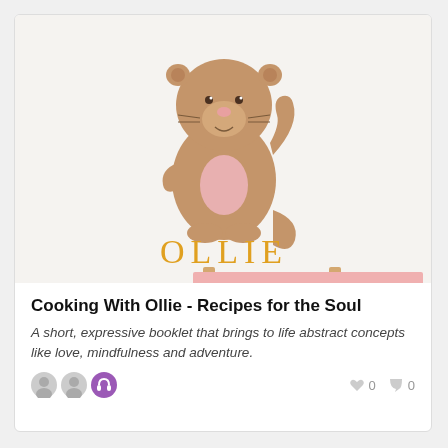[Figure (illustration): Cartoon otter character named Ollie holding a pink oval, waving one paw, with 'OLLIE' written in yellow/orange letters below it. A partially visible pink banner hangs below reading 'Recipes for the Soul' with clothespin clips.]
Cooking With Ollie - Recipes for the Soul
A short, expressive booklet that brings to life abstract concepts like love, mindfulness and adventure.
[Figure (other): Footer with two grey avatar circles, one purple headphones icon, heart icon with count 0, speech bubble icon with count 0]